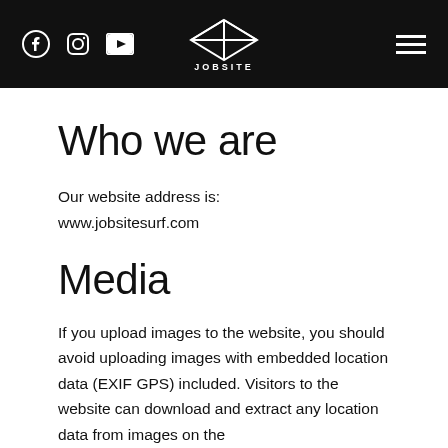Jobsite — navigation header with Facebook, Instagram, YouTube icons and hamburger menu
Who we are
Our website address is: www.jobsitesurf.com
Media
If you upload images to the website, you should avoid uploading images with embedded location data (EXIF GPS) included. Visitors to the website can download and extract any location data from images on the website.